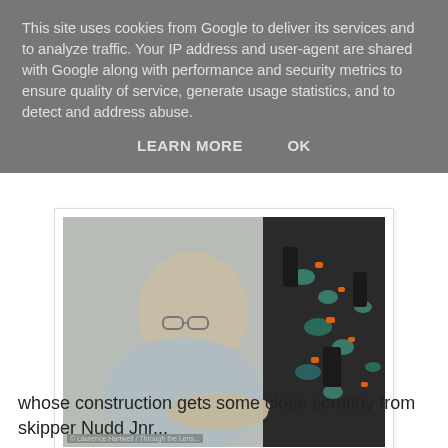This site uses cookies from Google to deliver its services and to analyze traffic. Your IP address and user-agent are shared with Google along with performance and security metrics to ensure quality of service, generate usage statistics, and to detect and address abuse.
LEARN MORE    OK
[Figure (photo): A man wearing glasses leans in closely to inspect a detailed sculptural construction made of dark plastic components with teal rope/netting and orange accents. Photo credit: Laurence Hartwell / Through the Lens.]
whose construction gets some close scrutiny from skipper Nudd Jnr...